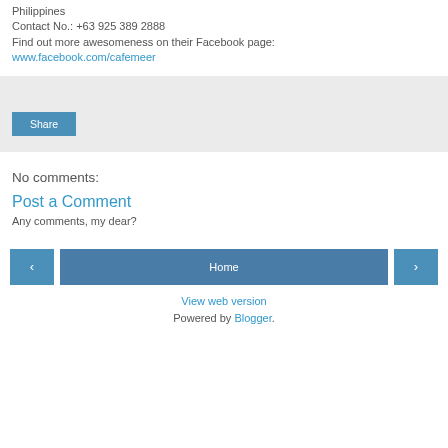Philippines
Contact No.: +63 925 389 2888
Find out more awesomeness on their Facebook page:
www.facebook.com/cafemeer
[Figure (other): Share button widget area with light grey background]
No comments:
Post a Comment
Any comments, my dear?
< Home > View web version Powered by Blogger.